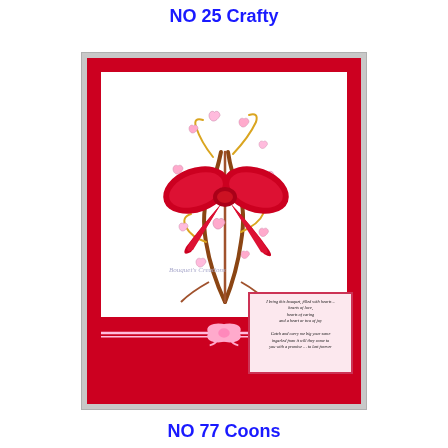NO 25 Crafty
[Figure (photo): A handmade greeting card with a red background. The card features a decorative bouquet illustration with braided/twisted stems, pink hearts, and a large red satin bow at the center. A pink ribbon bow decorates the bottom front. A small verse card is attached at the bottom right corner with italic text poetry. A watermark reading 'Bouquet's Creations' is visible on the white panel.]
NO 77 Coons